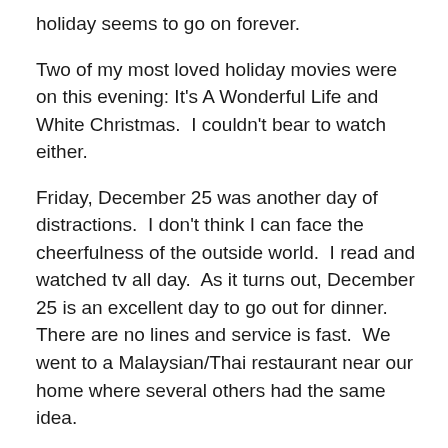holiday seems to go on forever.
Two of my most loved holiday movies were on this evening: It's A Wonderful Life and White Christmas.  I couldn't bear to watch either.
Friday, December 25 was another day of distractions.  I don't think I can face the cheerfulness of the outside world.  I read and watched tv all day.  As it turns out, December 25 is an excellent day to go out for dinner.  There are no lines and service is fast.  We went to a Malaysian/Thai restaurant near our home where several others had the same idea.
Saturday, December 26 and I'm starting to emerge a bit from the fog of the week.  I've spent the entire day vegging out at home.  I did manage to workout while Dan was at